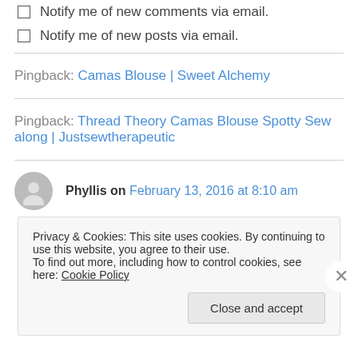Notify me of new comments via email.
Notify me of new posts via email.
Pingback: Camas Blouse | Sweet Alchemy
Pingback: Thread Theory Camas Blouse Spotty Sew along | Justsewtherapeutic
Phyllis on February 13, 2016 at 8:10 am
Privacy & Cookies: This site uses cookies. By continuing to use this website, you agree to their use. To find out more, including how to control cookies, see here: Cookie Policy